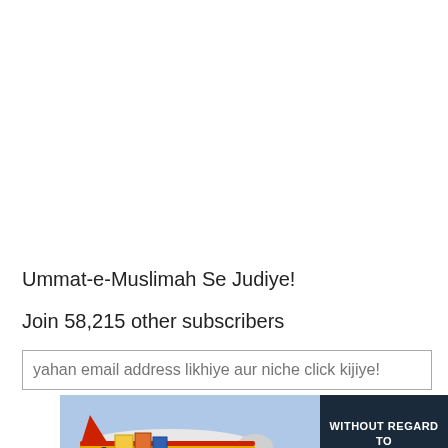Ummat-e-Muslimah Se Judiye!
Join 58,215 other subscribers
yahan email address likhiye aur niche click kijiye!
[Figure (photo): Cargo being loaded onto an airplane with red and yellow livery, alongside a dark banner overlay reading WITHOUT REGARD TO POLITICS, RELIGION, OR ABILITY TO PAY]